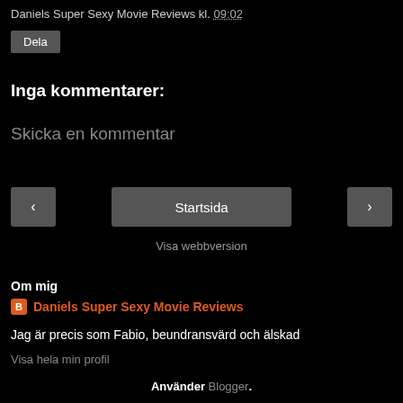Daniels Super Sexy Movie Reviews kl. 09:02
Dela
Inga kommentarer:
Skicka en kommentar
‹  Startsida  ›
Visa webbversion
Om mig
Daniels Super Sexy Movie Reviews
Jag är precis som Fabio, beundransvärd och älskad
Visa hela min profil
Använder Blogger.